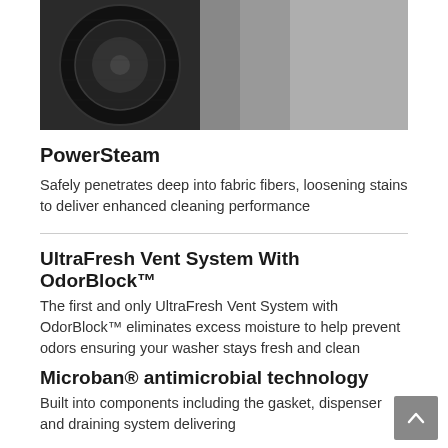[Figure (photo): Black and white close-up photo of fabric/textile in a washer drum]
PowerSteam
Safely penetrates deep into fabric fibers, loosening stains to deliver enhanced cleaning performance
UltraFresh Vent System With OdorBlock™
The first and only UltraFresh Vent System with OdorBlock™ eliminates excess moisture to help prevent odors ensuring your washer stays fresh and clean
Microban® antimicrobial technology
Built into components including the gasket, dispenser and draining system delivering